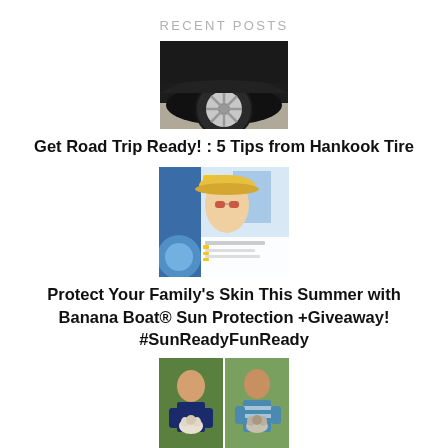RECENT POSTS
[Figure (photo): Close-up photo of a car tire and wheel arch, dark vehicle on pavement]
Get Road Trip Ready! : 5 Tips from Hankook Tire
[Figure (photo): Promotional image for Banana Boat sun protection featuring a girl in a yellow hat with sunscreen products]
Protect Your Family's Skin This Summer with Banana Boat® Sun Protection +Giveaway! #SunReadyFunReady
[Figure (photo): Two photos side by side of children holding small dogs/puppies outdoors]